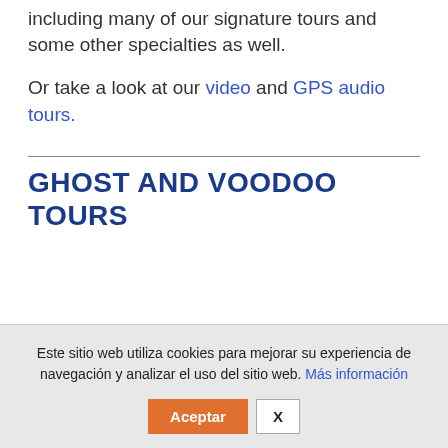including many of our signature tours and some other specialties as well.
Or take a look at our video and GPS audio tours.
GHOST AND VOODOO TOURS
Este sitio web utiliza cookies para mejorar su experiencia de navegación y analizar el uso del sitio web. Más información
Aceptar  X